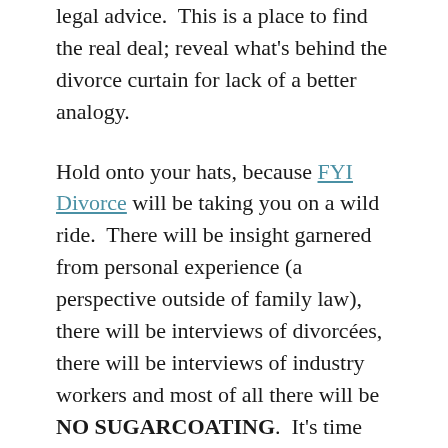legal advice.  This is a place to find the real deal; reveal what's behind the divorce curtain for lack of a better analogy.
Hold onto your hats, because FYI Divorce will be taking you on a wild ride.  There will be insight garnered from personal experience (a perspective outside of family law), there will be interviews of divorcées, there will be interviews of industry workers and most of all there will be NO SUGARCOATING.  It's time there is some real talk about what goes on in the courthouse and the courtroom and how the individuals' experience can be drastically different depending on what state and county the divorce is filed.